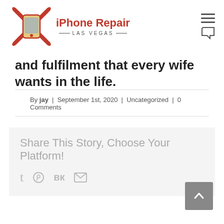[Figure (logo): iPhone Repair Las Vegas logo with red phone and wrench icon]
and fulfilment that every wife wants in the life.
By jay  |  September 1st, 2020  |  Uncategorized  |  0 Comments
Share This Story, Choose Your Platform!
[Figure (other): Social share icons: Tumblr, Pinterest, VK, Email]